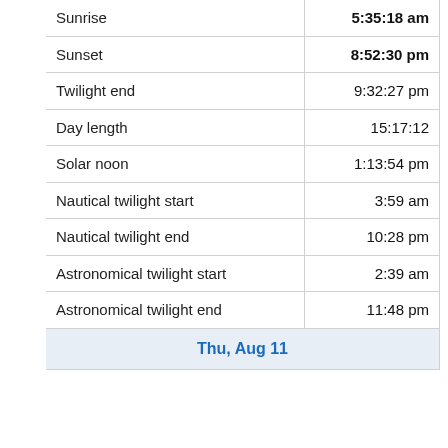| Event | Time |
| --- | --- |
| Sunrise | 5:35:18 am |
| Sunset | 8:52:30 pm |
| Twilight end | 9:32:27 pm |
| Day length | 15:17:12 |
| Solar noon | 1:13:54 pm |
| Nautical twilight start | 3:59 am |
| Nautical twilight end | 10:28 pm |
| Astronomical twilight start | 2:39 am |
| Astronomical twilight end | 11:48 pm |
| Thu, Aug 11 |  |